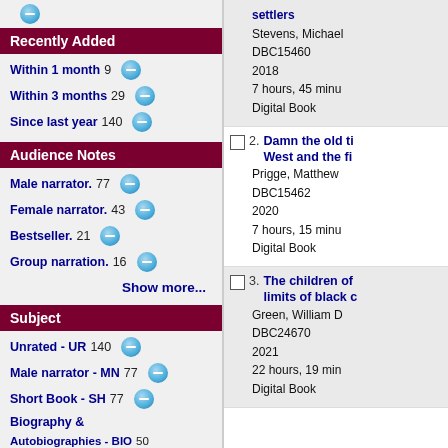Recently Added
Within 1 month 9
Within 3 months 29
Since last year 140
Audience Notes
Male narrator. 77
Female narrator. 43
Bestseller. 21
Group narration. 16
Show more...
Subject
Unrated - UR 140
Male narrator - MN 77
Short Book - SH 77
Biography & Autobiographies - BIO 50
settlers
Stevens, Michael
DBC15460
2018
7 hours, 45 minutes
Digital Book
2. Damn the old ti... West and the fi...
Prigge, Matthew
DBC15462
2020
7 hours, 15 minutes
Digital Book
3. The children of... limits of black c...
Green, William D
DBC24670
2021
22 hours, 19 minutes
Digital Book